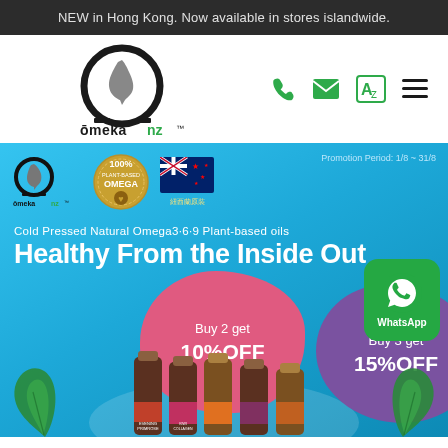NEW in Hong Kong. Now available in stores islandwide.
[Figure (logo): Omeka NZ logo with omega symbol and New Zealand silhouette]
[Figure (infographic): Navigation icons: phone, email, translate, hamburger menu]
[Figure (infographic): Promotional banner with OmekaNZ logo, 100% Plant-based Omega badge, NZ flag badge, promotion period 1/8-31/8, Cold Pressed Natural Omega3-6-9 Plant-based oils, Healthy From the Inside Out, Buy 2 get 10%OFF, Buy 3 get 15%OFF, WhatsApp button, product bottles]
Promotion Period: 1/8 ~ 31/8
Cold Pressed Natural Omega3·6·9 Plant-based oils
Healthy From the Inside Out
Buy 2 get 10%OFF
Buy 3 get 15%OFF